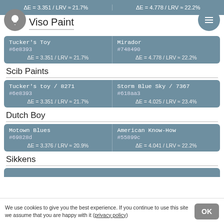ΔE = 3.351 / LRV ≈ 21.7%   |   ΔE = 4.778 / LRV ≈ 22.2%
Viso Paint
| Tucker's Toy | Mirador |
| --- | --- |
| #6e8393 | #748490 |
| ΔE = 3.351 / LRV ≈ 21.7% | ΔE = 4.778 / LRV ≈ 22.2% |
Scib Paints
| Tucker's toy / 8271 | Storm Blue Sky / 7367 |
| --- | --- |
| #6e8393 | #618aa3 |
| ΔE = 3.351 / LRV ≈ 21.7% | ΔE = 4.025 / LRV ≈ 23.4% |
Dutch Boy
| Motown Blues | American Know-How |
| --- | --- |
| #69828d | #55899c |
| ΔE = 3.376 / LRV ≈ 20.9% | ΔE = 4.041 / LRV ≈ 22.2% |
Sikkens
We use cookies to give you the best experience. If you continue to use this site we assume that you are happy with it (privacy policy)